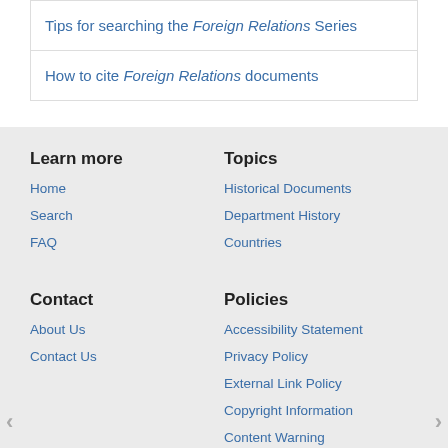Tips for searching the Foreign Relations Series
How to cite Foreign Relations documents
Learn more
Home
Search
FAQ
Topics
Historical Documents
Department History
Countries
Contact
About Us
Contact Us
Policies
Accessibility Statement
Privacy Policy
External Link Policy
Copyright Information
Content Warning